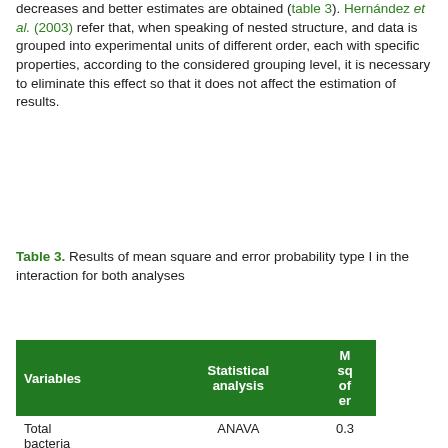decreases and better estimates are obtained (table 3). Hernández et al. (2003) refer that, when speaking of nested structure, and data is grouped into experimental units of different order, each with specific properties, according to the considered grouping level, it is necessary to eliminate this effect so that it does not affect the estimation of results.
Table 3.  Results of mean square and error probability type I in the interaction for both analyses
| Variables | Statistical analysis | Mean square of error |
| --- | --- | --- |
| Total bacteria | ANAVA | 0.3 |